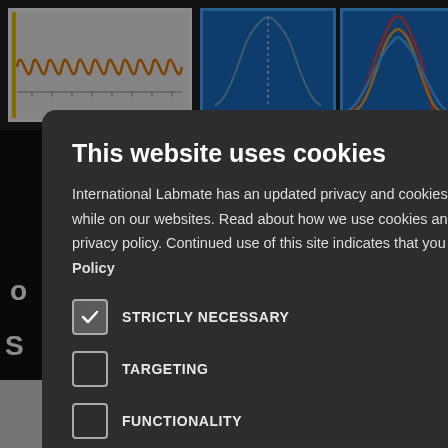[Figure (screenshot): Background webpage showing scientific charts and content from International Labmate website, partially obscured by cookie consent modal]
This website uses cookies
International Labmate has an updated privacy and cookies policy to enhance your experience while on our websites. Read about how we use cookies and how you can control them in our privacy policy. Continued use of this site indicates that you accept this policy. Read our Privacy Policy
STRICTLY NECESSARY (checked)
TARGETING
FUNCTIONALITY
UNCLASSIFIED
I AGREE | DECLINE ALL | SHOW DETAILS